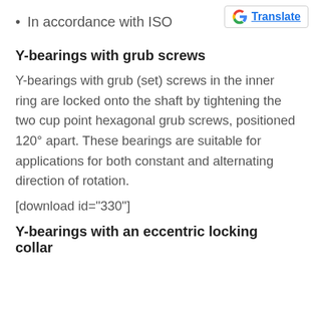In accordance with ISO
[Figure (logo): Google Translate button with Google 'G' logo and 'Translate' link text]
Y-bearings with grub screws
Y-bearings with grub (set) screws in the inner ring are locked onto the shaft by tightening the two cup point hexagonal grub screws, positioned 120° apart. These bearings are suitable for applications for both constant and alternating direction of rotation.
[download id="330"]
Y-bearings with an eccentric locking collar